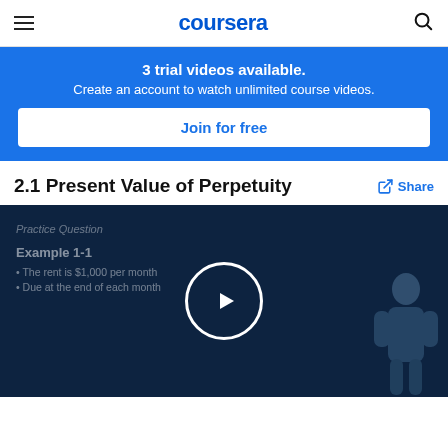coursera
3 trial videos available. Create an account to watch unlimited course videos.
Join for free
2.1 Present Value of Perpetuity
Share
[Figure (screenshot): Video thumbnail showing a practice question slide with 'Example 1-1', bullet points about rent of $1,000 per month due at end of each month, with a play button overlay and an instructor silhouette on the right side. Background is dark navy blue.]